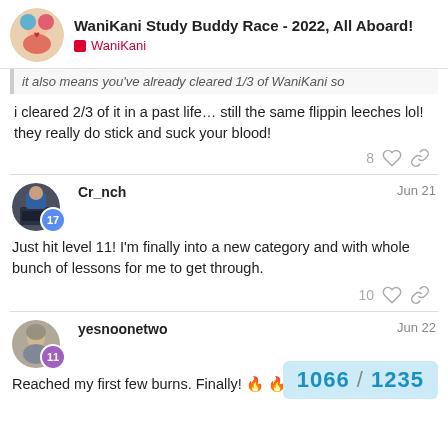WaniKani Study Buddy Race - 2022, All Aboard! WaniKani
it also means you've already cleared 1/3 of WaniKani so
i cleared 2/3 of it in a past life… still the same flippin leeches lol! they really do stick and suck your blood!
8 likes
Cr_nch  Jun 21
Just hit level 11! I'm finally into a new category and with whole bunch of lessons for me to get through.
10 likes
yesnoonetwo  Jun 22
Reached my first few burns. Finally! 🔥 🔥
1066 / 1235